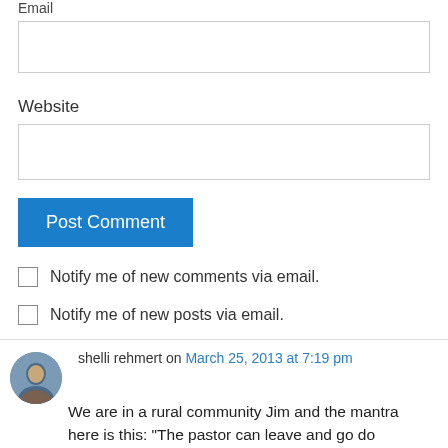Email
Website
Post Comment
Notify me of new comments via email.
Notify me of new posts via email.
shelli rehmert on March 25, 2013 at 7:19 pm
We are in a rural community Jim and the mantra here is this: “The pastor can leave and go do